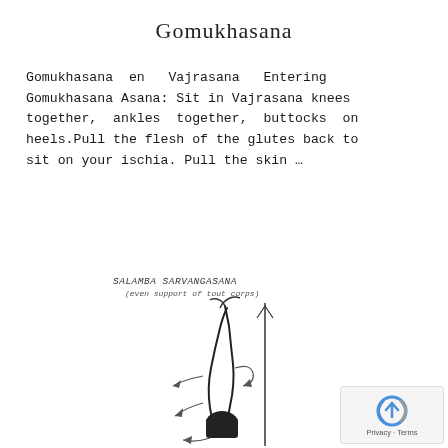Gomukhasana
Gomukhasana en Vajrasana Entering Gomukhasana Asana: Sit in Vajrasana knees together, ankles together, buttocks on heels.Pull the flesh of the glutes back to sit on your ischia. Pull the skin …
[Figure (illustration): Hand-drawn sketch of a yoga pose labeled 'SALAMBA SARVANGASANA (even support of tout corps)' showing a figure in a shoulderstand position with arrows indicating movement directions.]
[Figure (logo): Google reCAPTCHA privacy badge with blue/grey recycle-like icon and 'Privacy - Terms' text]